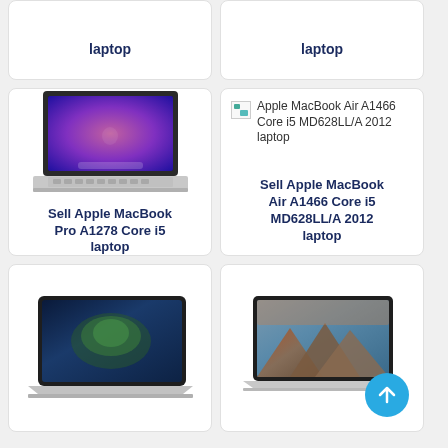laptop
laptop
[Figure (photo): Apple MacBook Pro A1278 Core i5 laptop photo]
Sell Apple MacBook Pro A1278 Core i5 laptop
[Figure (photo): Broken image placeholder for Apple MacBook Air A1466 Core i5 MD628LL/A 2012 laptop]
Sell Apple MacBook Air A1466 Core i5 MD628LL/A 2012 laptop
[Figure (photo): Apple MacBook Air laptop photo - dark wallpaper]
[Figure (photo): Apple MacBook Air laptop photo - mountain wallpaper]